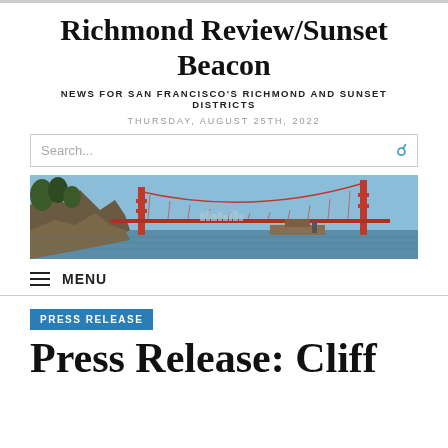Richmond Review/Sunset Beacon
NEWS FOR SAN FRANCISCO'S RICHMOND AND SUNSET DISTRICTS
THURSDAY, AUGUST 25TH, 2022
[Figure (photo): Panoramic photo of the Golden Gate Bridge with rocky cliffs on the left, blue sky, and the San Francisco skyline visible in the background]
MENU
PRESS RELEASE
Press Release: Cliff